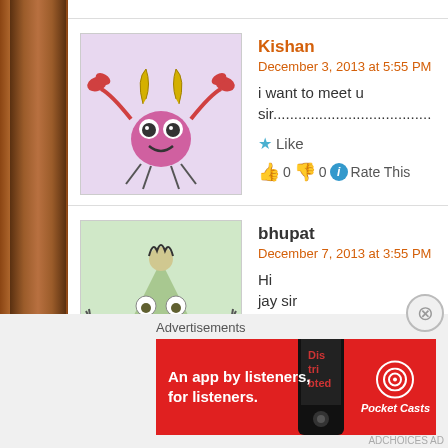Kishan
December 3, 2013 at 5:55 PM
i want to meet u sir......................................
Like
0  0  Rate This
bhupat
December 7, 2013 at 3:55 PM
Hi
jay sir
i regularly read your article in Gujarat samachar wich is rea
Like
0  0  Rate This
Advertisements
[Figure (illustration): Pocket Casts advertisement banner - red background with text 'An app by listeners, for listeners.' and Pocket Casts logo with a phone image showing 'Dis tri bted']